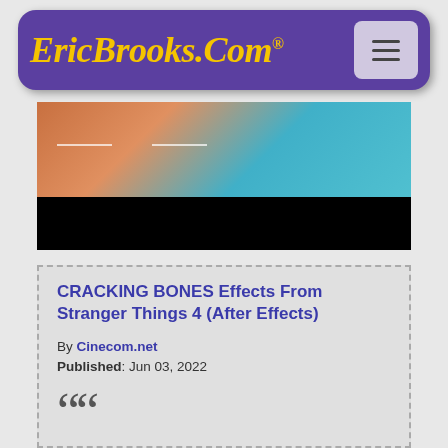EricBrooks.Com®
[Figure (screenshot): Partial screenshot of a video thumbnail showing warm orange/teal tones with a dark bottom bar, content from Stranger Things 4]
CRACKING BONES Effects From Stranger Things 4 (After Effects)
By Cinecom.net
Published: Jun 03, 2022
““